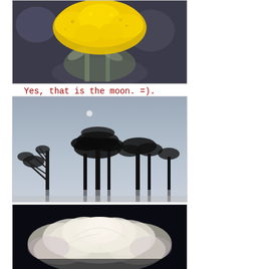[Figure (photo): Close-up photograph of a yellow flowering plant (yarrow/achillea) with bright yellow clustered blooms against a dark blurred background]
Yes, that is the moon. =).
[Figure (photo): Black and white silhouette photograph of bare trees against a pale grey sky with a small white moon visible in the upper portion]
[Figure (photo): Close-up photograph of a white/cream rose bloom against a very dark near-black background]